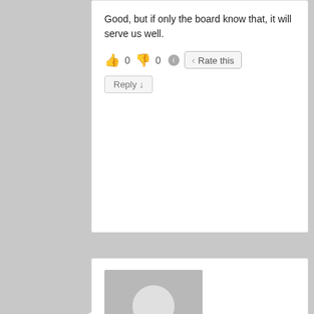Good, but if only the board know that, it will serve us well.
👍 0 👎 0 ℹ Rate this
Reply ↓
[Figure (illustration): Grey avatar/placeholder user icon]
Samuel bamidele on November 23, 2014 at 6:43 am said:
I think still leaving wenger on the seat is like leaving Arsenal on the shadow of collapse,,,he has done enough..let him go
👍 0 👎 0 ℹ Rate this
Reply ↓